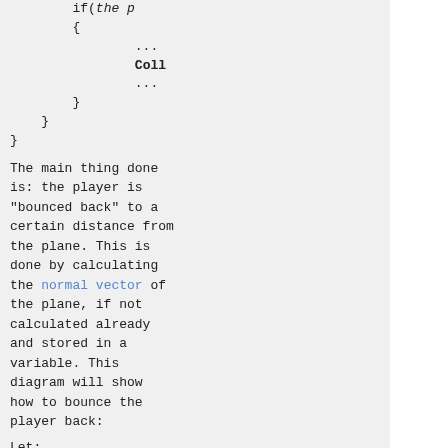if(the p
        {
            ...
            Coll
            ...
        }
    }
}
The main thing done is: the player is "bounced back" to a certain distance from the plane. This is done by calculating the normal vector of the plane, if not calculated already and stored in a variable. This diagram will show how to bounce the player back:
Let:
    O = player,
____ = polygon t
---- = the suffi
d     = Distance
p     = player's
Vp    = (x,y,z) p